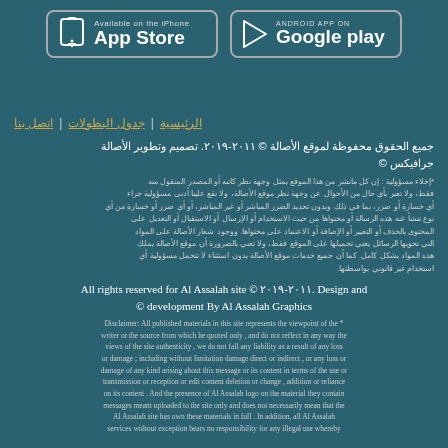[Figure (infographic): App Store and Google Play download buttons with icons and text on dark teal background]
الرئيسية | جدول البطولات | اتصل بنا
جميع الحقوق محفوظة لموقع الأصالة © ٢٠١١-٢٠١٩. تصميم وتطوير الأصالة جرافيكس ©
*إخلاء مسؤولية : إن كل مانشر من هذا الموقع يمثل وجهة نظر كاتبه أو المصدر المنقول منه فقط، ولا تعبر بأي حال من الأحوال عن وجهة نظر موقع الأصالة، ولا نقع علينا أدنى مسؤولية جراء أي خسارة أو ضرر، بما في ذلك وبدون تحديد الضرر المباشر أو غير المباشر، أو أي ضرر أو خسارة من أي نوع تنشأ عنه هذه الرسالة أو محتواها من حيث الاستخدام أو الإرسال أو الاستقبال أو التعديل على المحتوى بالحذف أو التغيير أو الإضافة أو الاعتماد على محتواها. ووجود شعار الأصالة على المواد التي تحويها الرسائل يعني تحميلها على الموقع فقط، ولا تعني بالضرورة أن موقع الأصالة يملك هذه المواد بشكل كامل. كما أن جميع خدمات موقع الأصالة بدون استثناء لا تتحمل مسؤولية أي استخدام غير قانوني بواسطتها.
All rights reserved for Al Assalah site © ٢٠١١-٢٠١٩. Design and development By Al Assalah Graphics ©
Disclaimer: All published materials in this site represents the viewpoint of the writer or the source from which he quoted only , and do not reflect in any way the views of the site authenticity , we do not fall any liability as a result of any loss or damage ; including without limitation damage direct or indirect , or any loss or damage of any kind arising about this message or its content in terms of the use or transmission or reception or edit content deletion or change , addition or reliance on its content . And the presence of Al Assalah logo on the material they contain messages meant uploaded to the site only and does not necessarily mean that the Al Assalah site has own these materials in full . In addition, all Al Assalah services without exception bears no responsibility for any illegal use whereby